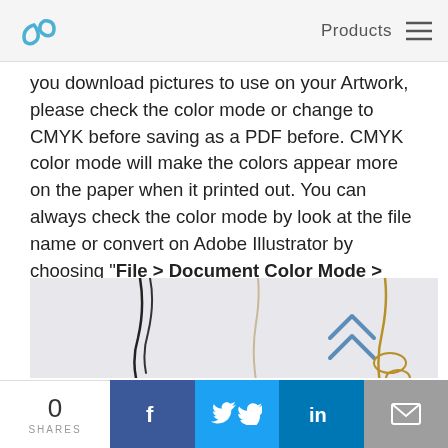Products
you download pictures to use on your Artwork, please check the color mode or change to CMYK before saving as a PDF before. CMYK color mode will make the colors appear more on the paper when it printed out. You can always check the color mode by look at the file name or convert on Adobe Illustrator by choosing "File > Document Color Mode > CMYK"
[Figure (photo): Flat lay photo showing clothing tags with strings/twine on a light grey background, with a double chevron arrow icon (blue outline) visible in the upper right area of the image]
0 SHARES | Facebook share | Twitter share | LinkedIn share | Email share